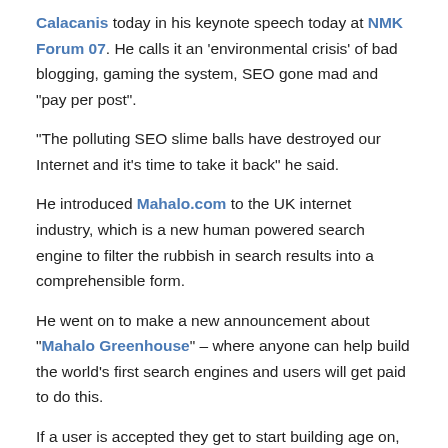Calacanis today in his keynote speech today at NMK Forum 07. He calls it an 'environmental crisis' of bad blogging, gaming the system, SEO gone mad and "pay per post".
"The polluting SEO slime balls have destroyed our Internet and it's time to take it back" he said.
He introduced Mahalo.com to the UK internet industry, which is a new human powered search engine to filter the rubbish in search results into a comprehensible form.
He went on to make a new announcement about "Mahalo Greenhouse" – where anyone can help build the world's first search engines and users will get paid to do this.
If a user is accepted they get to start building age on, for instance, a history of the Martini.